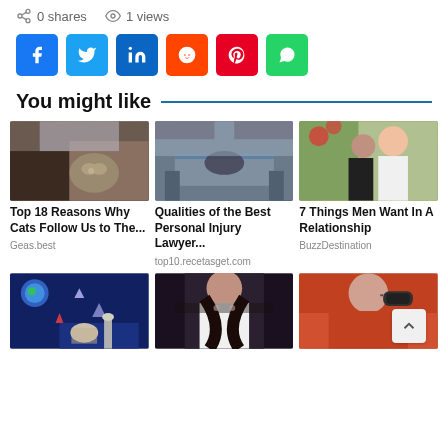0 shares  1 views
[Figure (screenshot): Social media share buttons: Facebook (blue), Twitter (light blue), LinkedIn (dark blue), Reddit (orange), Pinterest (red), WhatsApp (green)]
You might like
[Figure (photo): Cat sitting in a bag held by a person]
[Figure (photo): Hospital bed scene with a person lying down]
[Figure (photo): Couple kissing outdoors with flowers]
Top 18 Reasons Why Cats Follow Us to The...
Qualities of the Best Personal Injury Lawyer...
7 Things Men Want In A Relationship
Geas.best
top10.recetasget.com
BuzzDestination
[Figure (photo): Child sleeping in a dark space-themed room]
[Figure (photo): Woman with long dark hair in a white outfit]
[Figure (photo): Woman in orange top holding glasses]